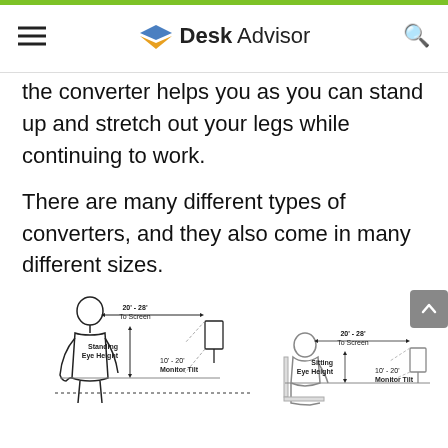Desk Advisor
the converter helps you as you can stand up and stretch out your legs while continuing to work.
There are many different types of converters, and they also come in many different sizes.
[Figure (illustration): Ergonomic diagram showing two side-by-side figures: left figure standing at a desk with labels '20' - 28' To Screen', 'Standing Eye Height', and '10' - 20' Monitor Tilt'; right figure sitting at a desk with labels '20' - 28' To Screen', 'Sitting Eye Height', and '10' - 20' Monitor Tilt'.]